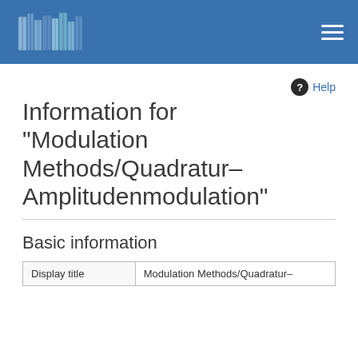[Figure (other): Blue header bar with a stack of books logo on the left and a hamburger menu icon on the right]
Information for "Modulation Methods/Quadratur–Amplitudenmodulation"
Help
Basic information
| Display title | Modulation Methods/Quadratur– |
| --- | --- |